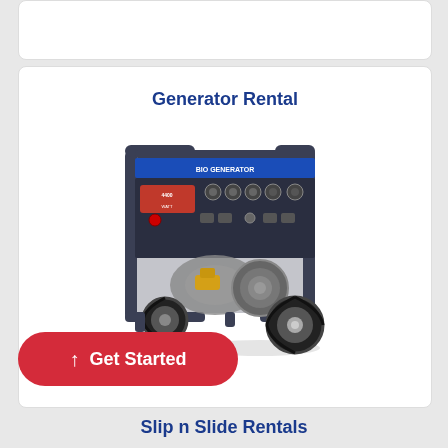Generator Rental
[Figure (photo): Photo of a portable generator with blue/black frame, control panel with gauges and switches, yellow engine components, and large black rubber wheels]
Get Started
Slip n Slide Rentals